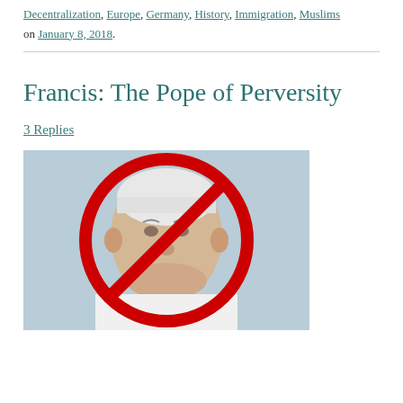Decentralization, Europe, Germany, History, Immigration, Muslims
on January 8, 2018.
Francis: The Pope of Perversity
3 Replies
[Figure (photo): Photo of an elderly man (Pope Francis) with a red 'no' symbol (circle with diagonal line) overlaid on top of it.]